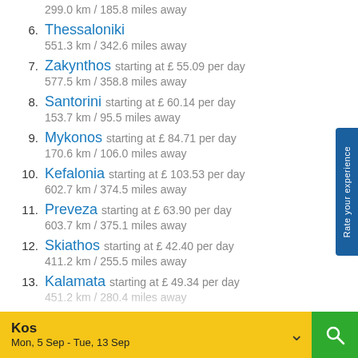299.0 km / 185.8 miles away
6. Thessaloniki — 551.3 km / 342.6 miles away
7. Zakynthos starting at £ 55.09 per day — 577.5 km / 358.8 miles away
8. Santorini starting at £ 60.14 per day — 153.7 km / 95.5 miles away
9. Mykonos starting at £ 84.71 per day — 170.6 km / 106.0 miles away
10. Kefalonia starting at £ 103.53 per day — 602.7 km / 374.5 miles away
11. Preveza starting at £ 63.90 per day — 603.7 km / 375.1 miles away
12. Skiathos starting at £ 42.40 per day — 411.2 km / 255.5 miles away
13. Kalamata starting at £ 49.34 per day — 451.2 km / 280.4 miles away
Kos | Mon, 5 Sep - Tue, 13 Sep